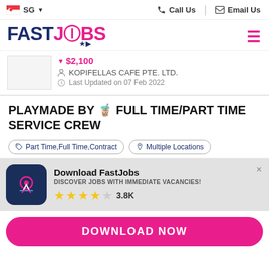SG  |  Call Us  |  Email Us
[Figure (logo): FastJobs logo with running person icon]
$2,100
KOPIFELLAS CAFE PTE. LTD.
Last Updated on 07 Feb 2022
PLAYMADE BY 🧋 FULL TIME/PART TIME SERVICE CREW
Part Time, Full Time, Contract   Multiple Locations
Download FastJobs
DISCOVER JOBS WITH IMMEDIATE VACANCIES!
★★★★☆ 3.8K
DOWNLOAD NOW